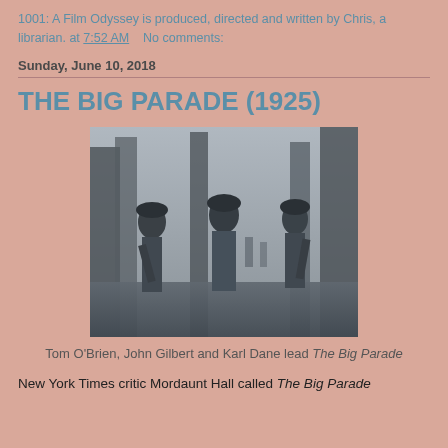1001: A Film Odyssey is produced, directed and written by Chris, a librarian. at 7:52 AM    No comments:
Sunday, June 10, 2018
THE BIG PARADE (1925)
[Figure (photo): Black and white still from The Big Parade (1925) showing three soldiers walking through a wooded area, carrying rifles]
Tom O'Brien, John Gilbert and Karl Dane lead The Big Parade
New York Times critic Mordaunt Hall called The Big Parade